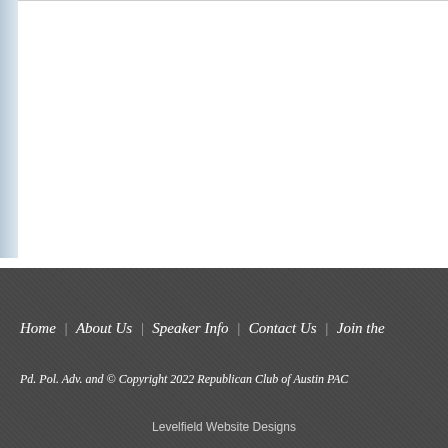[Figure (other): White content area with light blue-gray left bar and horizontal divider line at top, representing a website page body section]
Home | About Us | Speaker Info | Contact Us | Join the
Pd. Pol. Adv. and © Copyright 2022 Republican Club of Austin PAC
Levelfield Website Designs